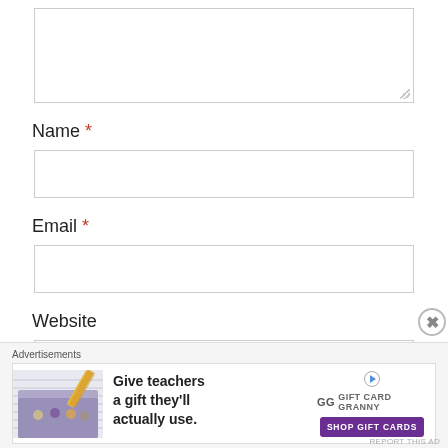[Figure (screenshot): Empty textarea input box with resize handle in bottom-right corner]
Name *
[Figure (screenshot): Empty single-line text input box for Name field]
Email *
[Figure (screenshot): Empty single-line text input box for Email field]
Website
[Figure (screenshot): Partial empty single-line text input box for Website field]
Advertisements
[Figure (screenshot): Advertisement banner: Give teachers a gift they'll actually use. Gift Card Granny. Shop Gift Cards button.]